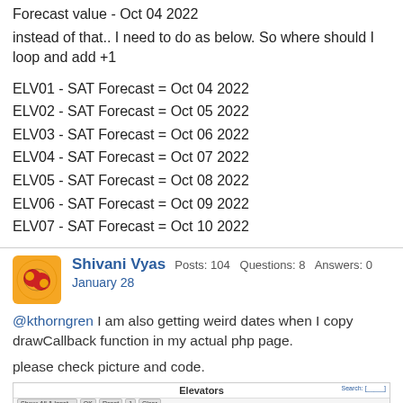Forecast value - Oct 04 2022
instead of that.. I need to do as below. So where should I loop and add +1
ELV01 - SAT Forecast = Oct 04 2022
ELV02 - SAT Forecast = Oct 05 2022
ELV03 - SAT Forecast = Oct 06 2022
ELV04 - SAT Forecast = Oct 07 2022
ELV05 - SAT Forecast = Oct 08 2022
ELV06 - SAT Forecast = Oct 09 2022
ELV07 - SAT Forecast = Oct 10 2022
Shivani Vyas   Posts: 104   Questions: 8   Answers: 0
January 28
@kthorngren I am also getting weird dates when I copy drawCallback function in my actual php page.
please check picture and code.
[Figure (screenshot): Screenshot of an Elevators table with multiple columns including Location, SAT, and forecast dates. A line chart is partially visible on the right side.]